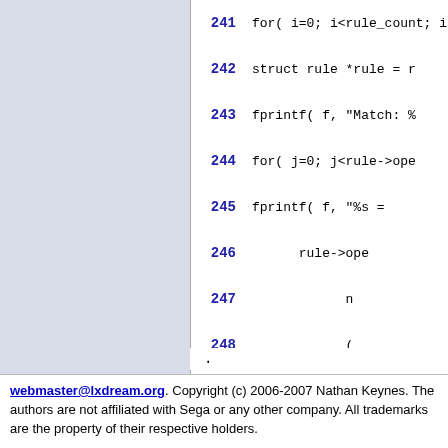[Figure (screenshot): Source code listing showing lines 241-252 of a C program with line numbers in bold blue and code in monospace font on white background]
webmaster@lxdream.org. Copyright (c) 2006-2007 Nathan Keynes. The authors are not affiliated with Sega or any other company. All trademarks are the property of their respective holders.